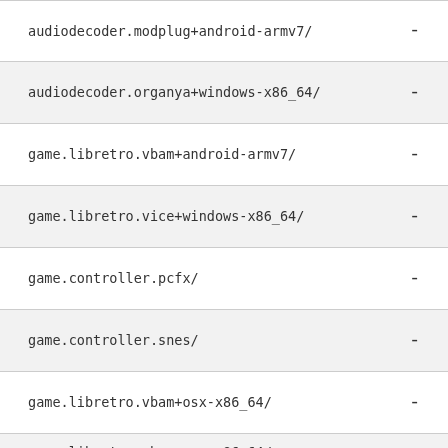audiodecoder.modplug+android-armv7/  -
audiodecoder.organya+windows-x86_64/  -
game.libretro.vbam+android-armv7/  -
game.libretro.vice+windows-x86_64/  -
game.controller.pcfx/  -
game.controller.snes/  -
game.libretro.vbam+osx-x86_64/  -
...  -